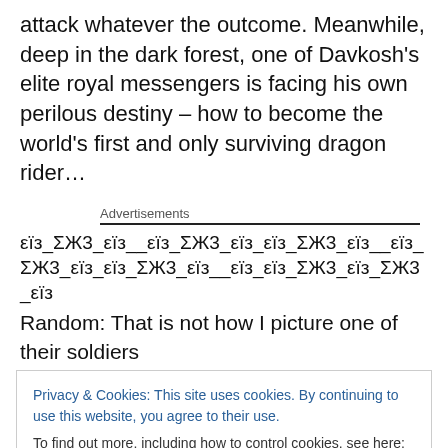attack whatever the outcome. Meanwhile, deep in the dark forest, one of Davkosh’s elite royal messengers is facing his own perilous destiny – how to become the world’s first and only surviving dragon rider…
Advertisements
εί3_Σ̌Κ3_εί3__εί3_Σ̌Κ3_εί3_εί3_Σ̌Κ3_εί3__εί3_Σ̌Κ3_ε3_εί3_Σ̌Κ3_εί3__εί3_εί3_Σ̌Κ3_εί3_Σ̌Κ3_εί3
Random: That is not how I picture one of their soldiers
Privacy & Cookies: This site uses cookies. By continuing to use this website, you agree to their use.
To find out more, including how to control cookies, see here: Cookie Policy
and the goblins hate each other. A dragon is the enemy